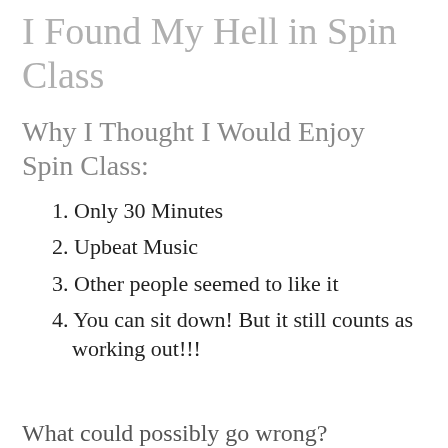I Found My Hell in Spin Class
Why I Thought I Would Enjoy Spin Class:
1. Only 30 Minutes
2. Upbeat Music
3. Other people seemed to like it
4. You can sit down! But it still counts as working out!!!
What could possibly go wrong?